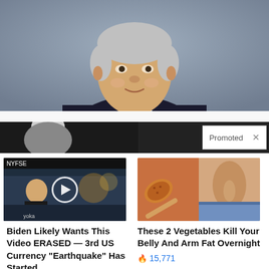[Figure (photo): Older man in dark suit and tie at a press briefing podium, grey/blue background, white-grey hair]
[Figure (photo): Promotional banner showing partially visible white-haired figure on dark background with 'Promoted X' tag]
[Figure (photo): Video thumbnail of man in dark suit at financial news desk (NYFSE), with play button overlay]
Biden Likely Wants This Video ERASED — 3rd US Currency "Earthquake" Has Started
🔥 782
[Figure (photo): Spice on a spoon next to toned midsection, belly fat loss advertisement]
These 2 Vegetables Kill Your Belly And Arm Fat Overnight
🔥 15,771